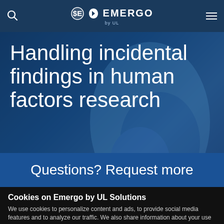EMERGO by UL — navigation bar with search icon and menu icon
Handling incidental findings in human factors research
Questions? Request more
Cookies on Emergo by UL Solutions
We use cookies to personalize content and ads, to provide social media features and to analyze our traffic. We also share information about your use of our site with our social media, advertising and analytics partners. Learn more